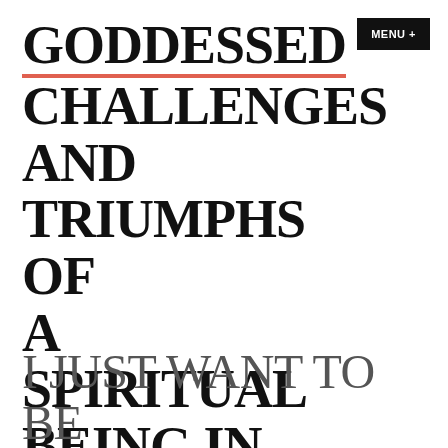MENU +
GODDESSED CHALLENGES AND TRIUMPHS OF A SPIRITUAL BEING IN THE MODERN WORLD.
I JUST WANT TO BE